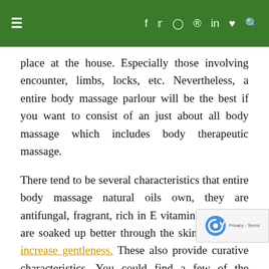≡  f  𝕏  ◎  𝗽  in  ♥  🔍
place at the house. Especially those involving encounter, limbs, locks, etc. Nevertheless, a entire body massage parlour will be the best if you want to consist of an just about all body massage which includes body therapeutic massage.
There tend to be several characteristics that entire body massage natural oils own, they are antifungal, fragrant, rich in E vitamin and meats, are soaked up better through the skin as well as increase gentleness. These also provide curative characteristics. You could find a few of the injuries becoming resolved following a good entire body massage. Nevertheless, these accidental injuries are little injuries such as scratches, and so on. Large injuries ought to be looked after medically.
Body Therapeutic massage followed having a sauna you you a definite wellbeing impact. Sauna's warmth